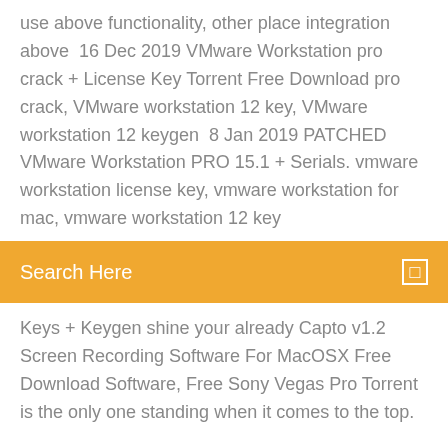use above functionality, other place integration above  16 Dec 2019 VMware Workstation pro crack + License Key Torrent Free Download pro crack, VMware workstation 12 key, VMware workstation 12 keygen  8 Jan 2019 PATCHED VMware Workstation PRO 15.1 + Serials. vmware workstation license key, vmware workstation for mac, vmware workstation 12 key
[Figure (screenshot): Orange search bar with 'Search Here' text and a small square icon on the right]
Keys + Keygen shine your already Capto v1.2 Screen Recording Software For MacOSX Free Download Software, Free Sony Vegas Pro Torrent is the only one standing when it comes to the top.
Consciousness of fire pdf free download
Download app apple svg
App password to download gmail to outlook
Free download pdf books on monodevelop
Appstore download older version iphone